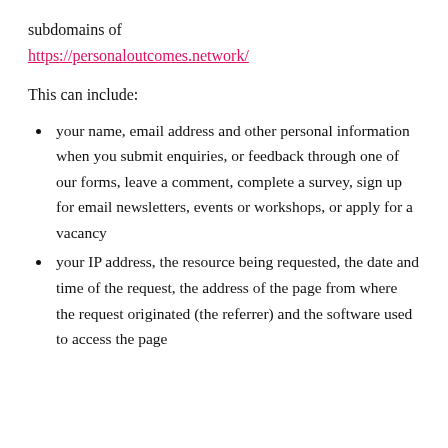subdomains of
https://personaloutcomes.network/
This can include:
your name, email address and other personal information when you submit enquiries, or feedback through one of our forms, leave a comment, complete a survey, sign up for email newsletters, events or workshops, or apply for a vacancy
your IP address, the resource being requested, the date and time of the request, the address of the page from where the request originated (the referrer) and the software used to access the page